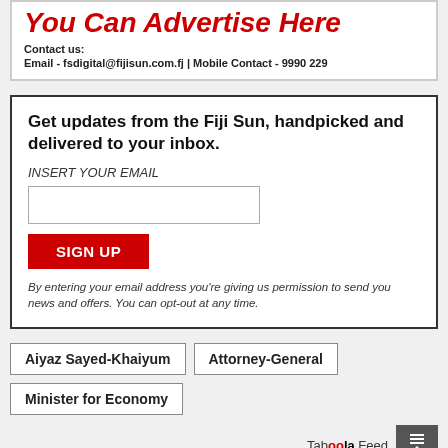You Can Advertise Here
Contact us:
Email - fsdigital@fijisun.com.fj | Mobile Contact - 9990 229
Get updates from the Fiji Sun, handpicked and delivered to your inbox.
INSERT YOUR EMAIL
SIGN UP
By entering your email address you're giving us permission to send you news and offers. You can opt-out at any time.
Aiyaz Sayed-Khaiyum
Attorney-General
Minister for Economy
Taboola Feed